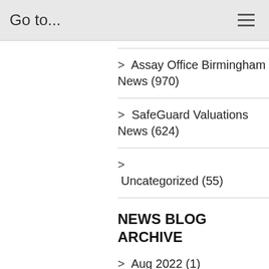Go to...
> Assay Office Birmingham News (970)
> SafeGuard Valuations News (624)
> Uncategorized (55)
NEWS BLOG ARCHIVE
> Aug 2022 (1)